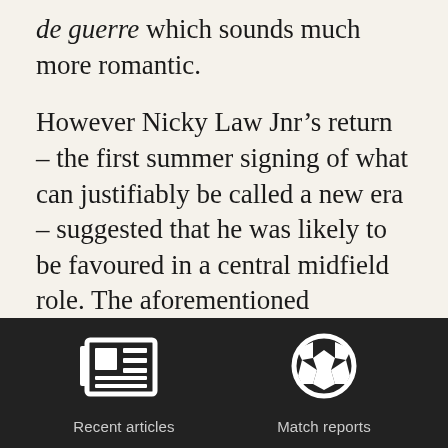de guerre which sounds much more romantic.
However Nicky Law Jnr’s return – the first summer signing of what can justifiably be called a new era – suggested that he was likely to be favoured in a central midfield role. The aforementioned McMahon and Filipe Morais can also play the role and Devine has impressed too.
[Figure (illustration): Newspaper/article icon (white, on dark background) with text 'Recent articles' below]
[Figure (illustration): Football/soccer ball icon (white, on dark background) with text 'Match reports' below]
Recent articles
Match reports